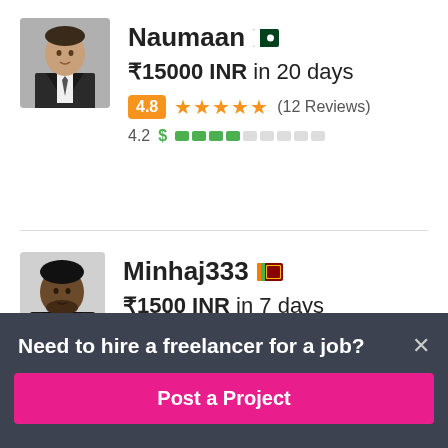[Figure (photo): Profile photo of freelancer Naumaan - man in suit]
Naumaan
₹15000 INR in 20 days
4.8 ★★★★★ (12 Reviews)
4.2 $ [earning bar]
[Figure (photo): Profile photo of freelancer Minhaj333 - man in suit]
Minhaj333
₹1500 INR in 7 days
Need to hire a freelancer for a job?
Post a Project